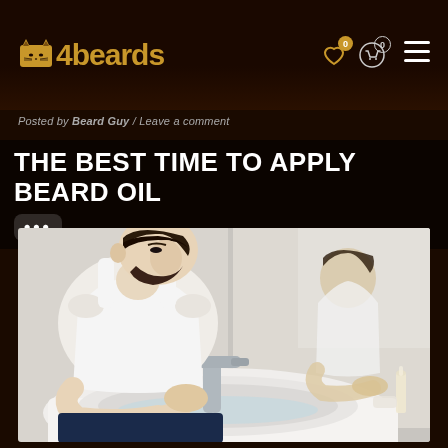4Beards — navigation bar with logo, wishlist (0), cart (0), and hamburger menu
Posted by Beard Guy  /  Leave a comment
THE BEST TIME TO APPLY BEARD OIL
[Figure (photo): A young bearded man in a white tank top leaning over a bathroom sink, washing his face at a faucet. His reflection is visible in the mirror to the right. The sink is white porcelain and the bathroom background is bright and blurred.]